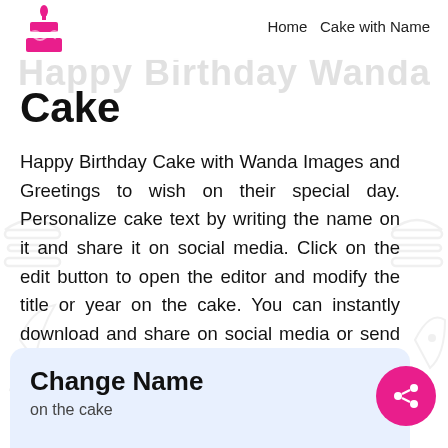Home  Cake with Name
[Figure (logo): Pink birthday cake icon with candle]
Cake
Happy Birthday Cake with Wanda Images and Greetings to wish on their special day. Personalize cake text by writing the name on it and share it on social media. Click on the edit button to open the editor and modify the title or year on the cake. You can instantly download and share on social media or send directly to the birthday boy or girl.
Change Name
on the cake